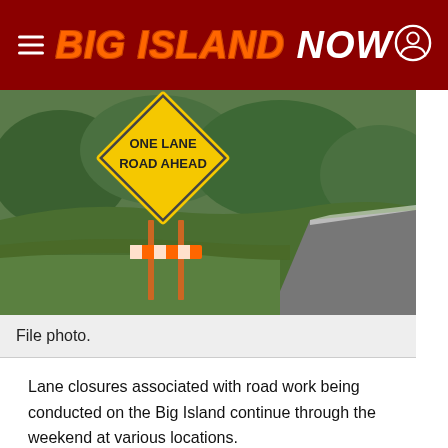BIG ISLAND NOW
[Figure (photo): A yellow diamond-shaped road sign reading 'ONE LANE ROAD AHEAD' mounted on orange and white construction stand, surrounded by green vegetation and a road visible to the right.]
File photo.
Lane closures associated with road work being conducted on the Big Island continue through the weekend at various locations.
Road work projects will continue over the weekend at the Umauma Bridge and the Pahoa Roundabout,